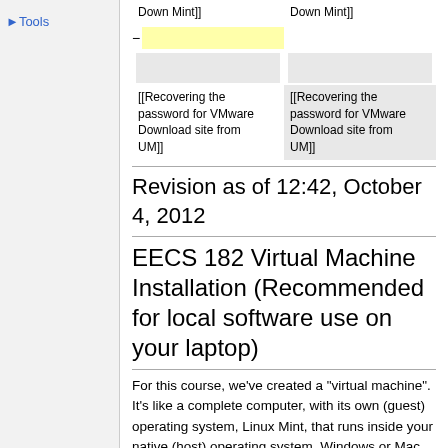Tools
| Column1 | Column2 |
| --- | --- |
| Down Mint]] | Down Mint]] |
| [yellow cell] |  |
| [gray cell] | [gray cell] |
| [[Recovering the password for VMware Download site from UM]] | [[Recovering the password for VMware Download site from UM]] |
Revision as of 12:42, October 4, 2012
EECS 182 Virtual Machine Installation (Recommended for local software use on your laptop)
For this course, we've created a "virtual machine". It's like a complete computer, with its own (guest) operating system, Linux Mint, that runs inside your native (host) operating system, Windows or Mac. You'll see what looks like a whole desktop inside a window on your real desktop. It can be a little tricky